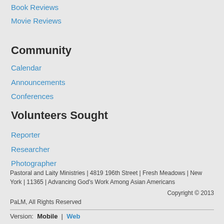Book Reviews
Movie Reviews
Community
Calendar
Announcements
Conferences
Volunteers Sought
Reporter
Researcher
Photographer
Pastoral and Laity Ministries | 4819 196th Street | Fresh Meadows | New York | 11365 | Advancing God's Work Among Asian Americans
Copyright © 2013
PaLM, All Rights Reserved
Version: Mobile | Web